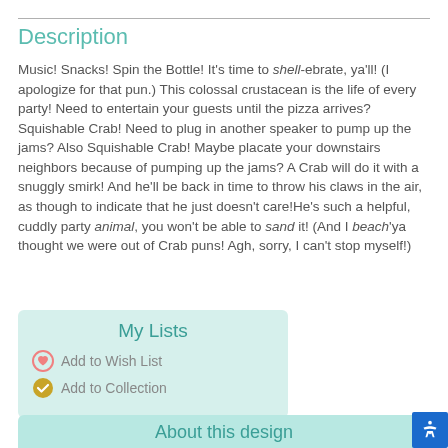Description
Music! Snacks! Spin the Bottle! It's time to shell-ebrate, ya'll! (I apologize for that pun.) This colossal crustacean is the life of every party! Need to entertain your guests until the pizza arrives? Squishable Crab! Need to plug in another speaker to pump up the jams? Also Squishable Crab! Maybe placate your downstairs neighbors because of pumping up the jams? A Crab will do it with a snuggly smirk! And he'll be back in time to throw his claws in the air, as though to indicate that he just doesn't care!He's such a helpful, cuddly party animal, you won't be able to sand it! (And I beach'ya thought we were out of Crab puns! Agh, sorry, I can't stop myself!)
My Lists
Add to Wish List
Add to Collection
About this design